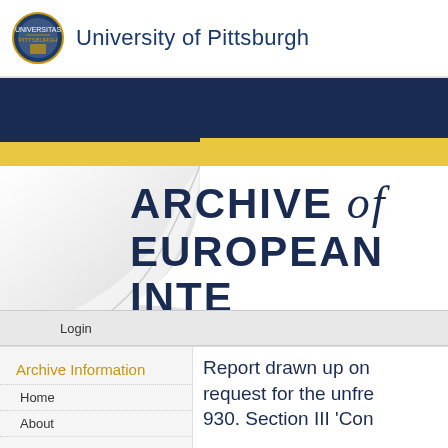University of Pittsburgh
[Figure (screenshot): University of Pittsburgh website screenshot showing the Archive of European Integration page header with page curl graphic, navy banner, yellow stripe, login bar, and sidebar navigation with Archive Information, Home, and About links, plus main content area beginning with 'Report drawn up on ... request for the unfre... 930. Section III 'Con...']
ARCHIVE of EUROPEAN INTE
Login
Archive Information
Home
About
Report drawn up on ... request for the unfre... 930. Section III 'Con...